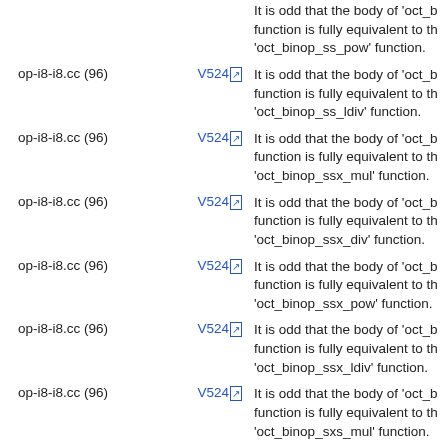| File | Code | Description |
| --- | --- | --- |
| op-i8-i8.cc (96) | V524 | It is odd that the body of 'oct_b function is fully equivalent to th 'oct_binop_ss_pow' function. |
| op-i8-i8.cc (96) | V524 | It is odd that the body of 'oct_b function is fully equivalent to th 'oct_binop_ss_ldiv' function. |
| op-i8-i8.cc (96) | V524 | It is odd that the body of 'oct_b function is fully equivalent to th 'oct_binop_ssx_mul' function. |
| op-i8-i8.cc (96) | V524 | It is odd that the body of 'oct_b function is fully equivalent to th 'oct_binop_ssx_div' function. |
| op-i8-i8.cc (96) | V524 | It is odd that the body of 'oct_b function is fully equivalent to th 'oct_binop_ssx_pow' function. |
| op-i8-i8.cc (96) | V524 | It is odd that the body of 'oct_b function is fully equivalent to th 'oct_binop_ssx_ldiv' function. |
| op-i8-i8.cc (96) | V524 | It is odd that the body of 'oct_b function is fully equivalent to th 'oct_binop_sxs_mul' function. |
| op-i8-i8.cc (96) | V524 | It is odd that the body of 'oct_b function is fully equivalent to th 'oct_binop_sxs_div' function. |